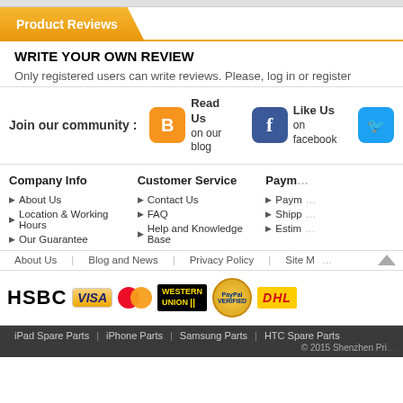Product Reviews
WRITE YOUR OWN REVIEW
Only registered users can write reviews. Please, log in or register
Join our community : Read Us on our blog | Like Us on facebook
Company Info
About Us
Location & Working Hours
Our Guarantee
Customer Service
Contact Us
FAQ
Help and Knowledge Base
Paym...
Paym...
Shipp...
Estim...
About Us   Blog and News   Privacy Policy   Site M...
[Figure (logo): Payment logos: HSBC, VISA, MasterCard, Western Union, PayPal Verified, DHL]
iPad Spare Parts | iPhone Parts | Samsung Parts | HTC Spare Parts
© 2015 Shenzhen Pri...